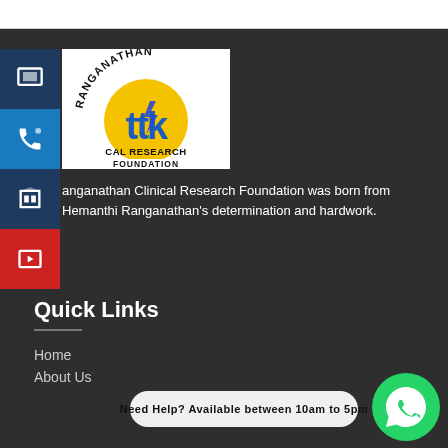[Figure (logo): Ranganathan Clinical Research Foundation logo with TTK branding - yellow circle with blue TTK letters and black text arc reading RANGANATHAN, below text reads CAL RESEARCH FOUNDATION]
anganathan Clinical Research Foundation was born from Hemanthi Ranganathan's determination and hardwork.
Quick Links
Home
About Us
Need Help? Available between 10am to 5pm